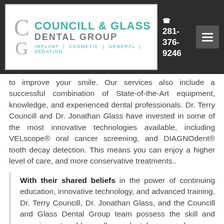[Figure (logo): Councill & Glass Dental Group logo with teal and gray text, showing CG monogram, on white background with dark header bar, phone number 281-376-9246, and hamburger menu button]
to improve your smile. Our services also include a successful combination of State-of-the-Art equipment, knowledge, and experienced dental professionals. Dr. Terry Councill and Dr. Jonathan Glass have invested in some of the most innovative technologies available, including VELscope® oral cancer screening, and DIAGNOdent® tooth decay detection. This means you can enjoy a higher level of care, and more conservative treatments..
With their shared beliefs in the power of continuing education, innovative technology, and advanced training, Dr. Terry Councill, Dr. Jonathan Glass, and the Councill and Glass Dental Group team possess the skill and experience to address all your dental care needs so you can enjoy a lifetime of healthy smiles. Whether you need a checkup and